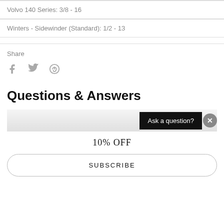| Volvo 140 Series: 3/8 - 16 |
| Winters - Sidewinder (Standard): 1/2 - 13 |
Share
[Figure (other): Social share icons: Facebook (f), Twitter (bird), Pinterest (p)]
Questions & Answers
Ask a question?
10% OFF
SUBSCRIBE